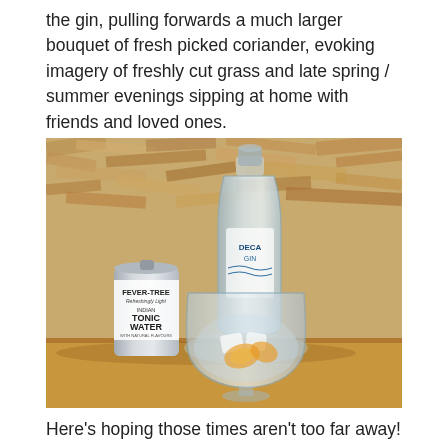the gin, pulling forwards a much larger bouquet of fresh picked coriander, evoking imagery of freshly cut grass and late spring / summer evenings sipping at home with friends and loved ones.
[Figure (photo): A bottle of Deca gin and a can of Fever-Tree Refreshingly Light Indian Tonic Water placed on a wooden surface, with a large glass balloon filled with ice and orange slices in front, against a plywood/chipboard wall background.]
Here's hoping those times aren't too far away!